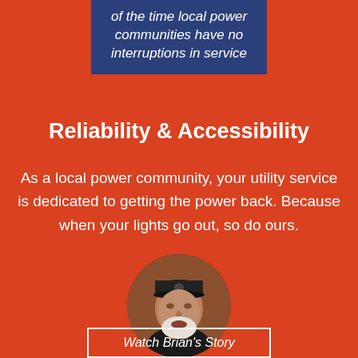of the time local power communities have no interruptions in service
Reliability & Accessibility
As a local power community, your utility service is dedicated to getting the power back. Because when your lights go out, so do ours.
[Figure (photo): Circular portrait photo of a middle-aged man with a white beard wearing a black cap, looking upward slightly]
Watch Brian's Story